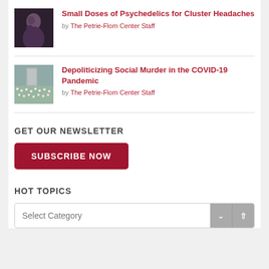[Figure (photo): Dark toned image of a person holding their head, suggesting pain or distress]
Small Doses of Psychedelics for Cluster Headaches
by The Petrie-Flom Center Staff
[Figure (photo): Outdoor field with white flowers or flags, with a building in the background — COVID memorial imagery]
Depoliticizing Social Murder in the COVID-19 Pandemic
by The Petrie-Flom Center Staff
GET OUR NEWSLETTER
SUBSCRIBE NOW
HOT TOPICS
Select Category